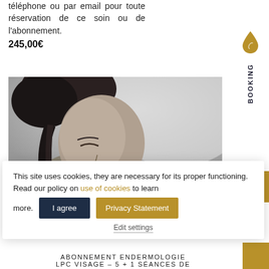téléphone ou par email pour toute réservation de ce soin ou de l'abonnement.
245,00€
[Figure (photo): Black and white portrait photo of a woman with her eyes closed, looking downward, hair pulled back]
This site uses cookies, they are necessary for its proper functioning. Read our policy on use of cookies to learn more.
I agree
Privacy Statement
Edit settings
ABONNEMENT ENDERMOLOGIE LPC VISAGE – 5 + 1 SÉANCES DE